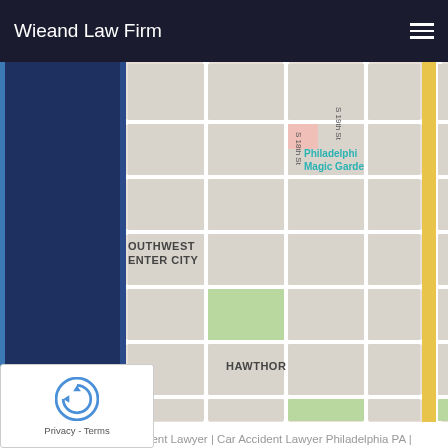Wieand Law Firm
[Figure (map): Street map showing Southwest Center City Philadelphia area, including S 19th St, S 18th St, Philadelphia's Magic Garden label, and Hawthorn neighborhood label. A yellow highlighted road runs vertically.]
Philadelphia Car Accident Lawyer | Car Accident Lawyer Philadelphia PA | Personal Injury Lawyer Philadelphia PA | Truck Accident Lawyer Philadelphia PA | Bicycle Accident Lawyer Philadelphia PA | Philadelphia Car Accident Lawyer | Wrongful Death Attorney Philadelphia PA | Motorcycle Accident Lawyer Philadelphia PA | Slip and Fall Lawyer Philadelphia PA | Medical Malpractice Lawyer Philadelphia PA | Philadelphia Nursing Home Lawyer